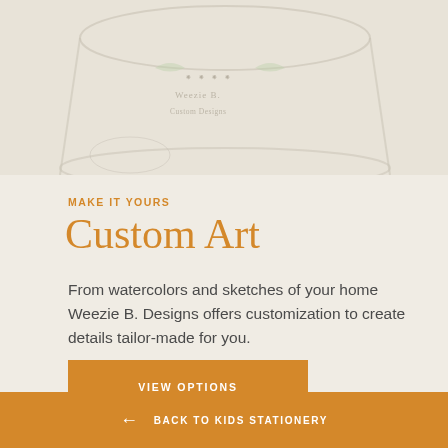[Figure (photo): Partial photo of a glass tumbler with decorative etching/printing, on a light beige background]
MAKE IT YOURS
Custom Art
From watercolors and sketches of your home Weezie B. Designs offers customization to create details tailor-made for you.
VIEW OPTIONS
← BACK TO KIDS STATIONERY